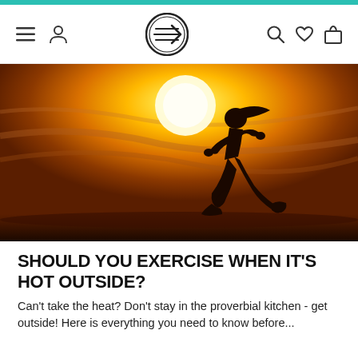Navigation bar with menu, user, logo, search, heart, and bag icons
[Figure (photo): Silhouette of a woman running against a vivid orange/yellow sunset sky with a large glowing sun in the background]
SHOULD YOU EXERCISE WHEN IT'S HOT OUTSIDE?
Can't take the heat? Don't stay in the proverbial kitchen - get outside! Here is everything you need to know before...